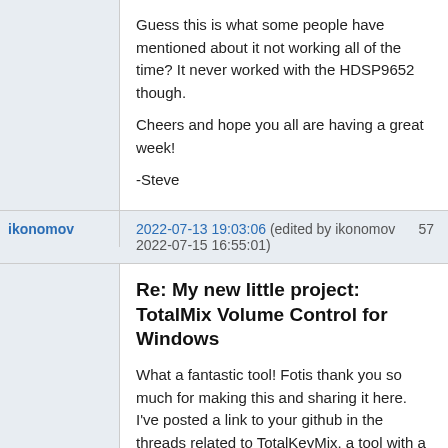Guess this is what some people have mentioned about it not working all of the time? It never worked with the HDSP9652 though.

Cheers and hope you all are having a great week!

-Steve
ikonomov
2022-07-13 19:03:06 (edited by ikonomov 2022-07-15 16:55:01) 57
Re: My new little project: TotalMix Volume Control for Windows
What a fantastic tool!  Fotis thank you so much for making this and sharing it here.  I've posted a link to your github in the threads related to TotalKeyMix, a tool with a similar functionality that I've updated, but now consider superseded by your elegant solution.